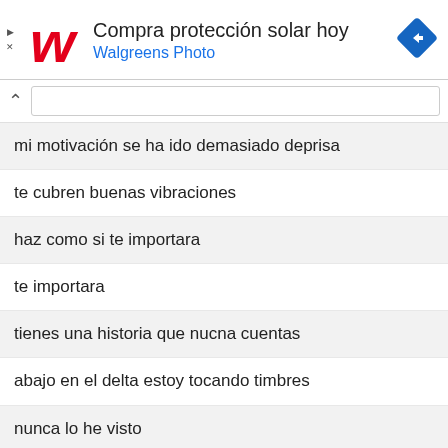[Figure (screenshot): Walgreens advertisement banner with logo, text 'Compra protección solar hoy' and 'Walgreens Photo', plus a blue navigation arrow icon on the right]
mi motivación se ha ido demasiado deprisa
te cubren buenas vibraciones
haz como si te importara
te importara
tienes una historia que nucna cuentas
abajo en el delta estoy tocando timbres
nunca lo he visto
lo he visto
en el fondo de mi mente, estoy de camino
veo más allá de las sonisas en todas las caras